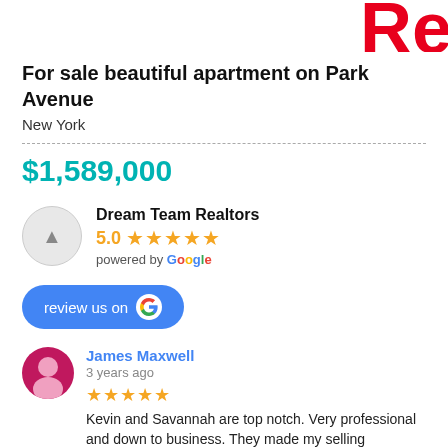[Figure (logo): Partial red logo letters 'Re' in top right corner]
For sale beautiful apartment on Park Avenue
New York
$1,589,000
Dream Team Realtors
5.0 ★★★★★
powered by Google
[Figure (other): Blue 'review us on Google' button with Google G icon]
James Maxwell
3 years ago
★★★★★ Kevin and Savannah are top notch. Very professional and down to business. They made my selling experience pain free and... read more